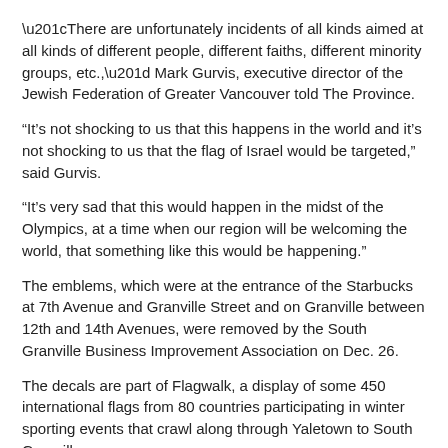“There are unfortunately incidents of all kinds aimed at all kinds of different people, different faiths, different minority groups, etc.,” Mark Gurvis, executive director of the Jewish Federation of Greater Vancouver told The Province.
“It’s not shocking to us that this happens in the world and it’s not shocking to us that the flag of Israel would be targeted,” said Gurvis.
“It’s very sad that this would happen in the midst of the Olympics, at a time when our region will be welcoming the world, that something like this would be happening.”
The emblems, which were at the entrance of the Starbucks at 7th Avenue and Granville Street and on Granville between 12th and 14th Avenues, were removed by the South Granville Business Improvement Association on Dec. 26.
The decals are part of Flagwalk, a display of some 450 international flags from 80 countries participating in winter sporting events that crawl along through Yaletown to South Granville.